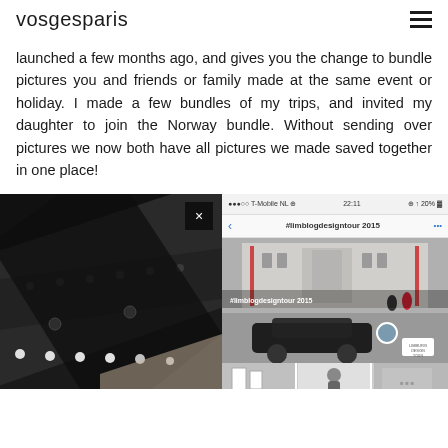vosgesparis
launched a few months ago, and gives you the change to bundle pictures you and friends or family made at the same event or holiday. I made a few bundles of my trips, and invited my daughter to join the Norway bundle. Without sending over pictures we now both have all pictures we made saved together in one place!
[Figure (photo): Left: close-up photo of black leather belt or industrial object with perforations and rivets on dark background with close-up X button overlay. Right: smartphone screenshot showing #limblogdesigntour 2015 Twitter/photo app with grid of images including a building exterior and cars.]